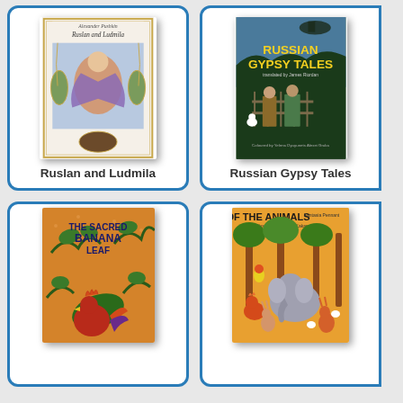[Figure (photo): Book cover of 'Ruslan and Ludmila' by Alexander Pushkin, with illustrated fantasy figures on white/blue background with ornate border]
Ruslan and Ludmila
[Figure (photo): Book cover of 'Russian Gypsy Tales' translated by James Riordan, illustrated by Yekaterina Devyatykh-Golike, dark green cover with gypsy figures]
Russian Gypsy Tales
[Figure (photo): Book cover of 'The Sacred Banana Leaf', orange background with stylized tree branches and a rooster]
[Figure (photo): Book cover of 'Of The Animals', Fantasia Pennant illustrated by Keizo Kakamoto, colorful animals including elephant, rabbits, rooster on orange/green background]